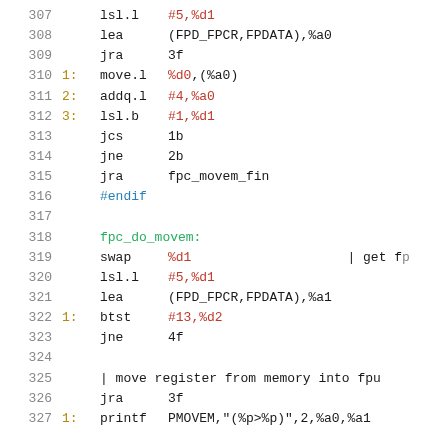307     lsl.l   #5,%d1
308     lea     (FPD_FPCR,FPDATA),%a0
309     jra     3f
310 1:  move.l  %d0,(%a0)
311 2:  addq.l  #4,%a0
312 3:  lsl.b   #1,%d1
313     jcs     1b
314     jne     2b
315     jra     fpc_movem_fin
316 #endif
317
318 fpc_do_movem:
319     swap    %d1                    | get fp
320     lsl.l   #5,%d1
321     lea     (FPD_FPCR,FPDATA),%a1
322 1:  btst    #13,%d2
323     jne     4f
324
325     | move register from memory into fpu
326     jra     3f
327 1:  printf  PMOVEM,"(%p>%p)",2,%a0,%a1